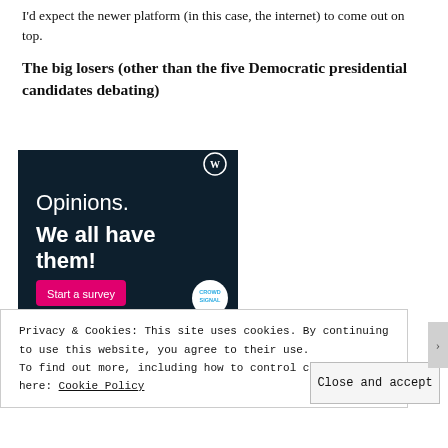I'd expect the newer platform (in this case, the internet) to come out on top.
The big losers (other than the five Democratic presidential candidates debating)
[Figure (illustration): Dark navy advertisement image with white text reading 'Opinions. We all have them!' with a pink 'Start a survey' button and CrowdSignal logo in bottom right. WordPress logo visible in top right corner.]
Privacy & Cookies: This site uses cookies. By continuing to use this website, you agree to their use.
To find out more, including how to control cookies, see here: Cookie Policy
Close and accept